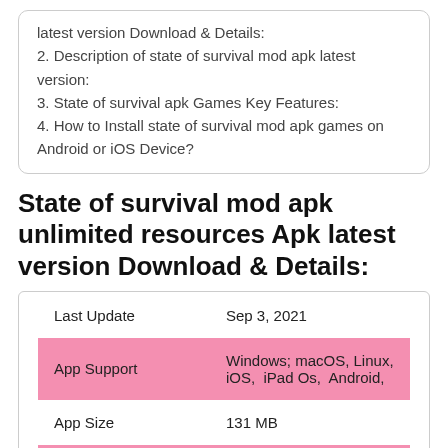latest version Download & Details:
2. Description of state of survival mod apk latest version:
3. State of survival apk Games Key Features:
4. How to Install state of survival mod apk games on Android or iOS Device?
State of survival mod apk unlimited resources Apk latest version Download & Details:
| Last Update | Sep 3, 2021 |
| App Support | Windows; macOS, Linux, iOS, iPad Os, Android, |
| App Size | 131 MB |
| Version | 1.13.11 |